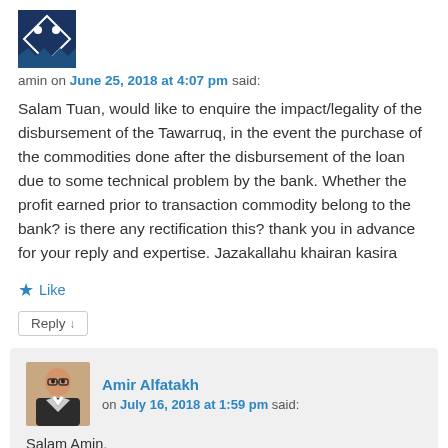[Figure (illustration): Avatar icon, dark blue square with white geometric/diamond pattern]
amin on June 25, 2018 at 4:07 pm said:
Salam Tuan, would like to enquire the impact/legality of the disbursement of the Tawarruq, in the event the purchase of the commodities done after the disbursement of the loan due to some technical problem by the bank. Whether the profit earned prior to transaction commodity belong to the bank? is there any rectification this? thank you in advance for your reply and expertise. Jazakallahu khairan kasira
★ Like
Reply ↓
[Figure (photo): Photo of Amir Alfatakh, a man in a suit]
Amir Alfatakh on July 16, 2018 at 1:59 pm said:
Salam Amin,